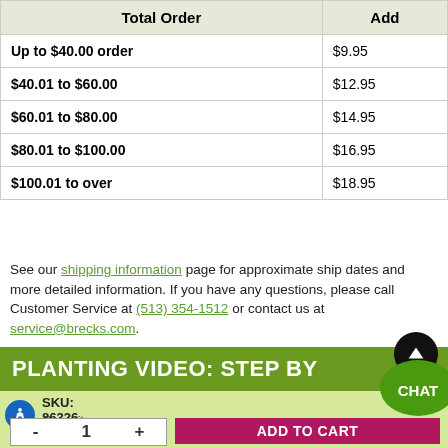| Total Order | Add |
| --- | --- |
| Up to $40.00 order | $9.95 |
| $40.01 to $60.00 | $12.95 |
| $60.01 to $80.00 | $14.95 |
| $80.01 to $100.00 | $16.95 |
| $100.01 to over | $18.95 |
See our shipping information page for approximate ship dates and more detailed information. If you have any questions, please call Customer Service at (513) 354-1512 or contact us at service@brecks.com.
PLANTING VIDEO: STEP BY
SKU: 86326    7 for $33.98
Quantity